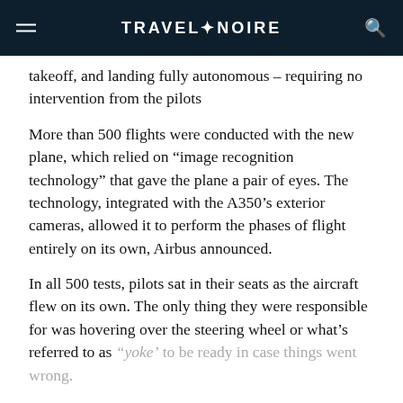TRAVEL+NOIRE
takeoff, and landing fully autonomous – requiring no intervention from the pilots
More than 500 flights were conducted with the new plane, which relied on “image recognition technology” that gave the plane a pair of eyes. The technology, integrated with the A350’s exterior cameras, allowed it to perform the phases of flight entirely on its own, Airbus announced.
In all 500 tests, pilots sat in their seats as the aircraft flew on its own. The only thing they were responsible for was hovering over the steering wheel or what’s referred to as “yoke’ to be ready in case things went wrong.